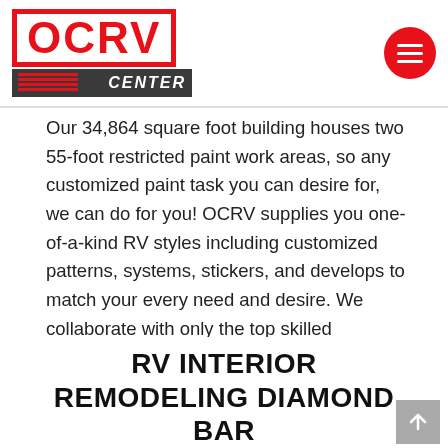OCRV CENTER
Our 34,864 square foot building houses two 55-foot restricted paint work areas, so any customized paint task you can desire for, we can do for you! OCRV supplies you one-of-a-kind RV styles including customized patterns, systems, stickers, and develops to match your every need and desire. We collaborate with only the top skilled technicians and engineers with numerous years of enthusiastic histories in establishing distinct paint jobs for the wildest creative imaginations. If you are trying to find RV paint Shops Near Me Diamond Bar, stop your search now. OCRV will tailor your RV paint or decal making use of only dedicated paint RV specialist who only deal with high quality materials. Call Today for all your RV paint and decal tasks.
RV INTERIOR REMODELING DIAMOND BAR